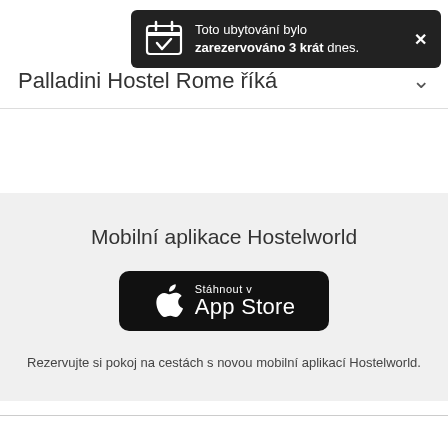Toto ubytování bylo zarezervováno 3 krát dnes.
Palladini Hostel Rome říká
Mobilní aplikace Hostelworld
[Figure (logo): App Store download button — black rounded rectangle with Apple logo and text 'Stáhnout v App Store']
Rezervujte si pokoj na cestách s novou mobilní aplikací Hostelworld.